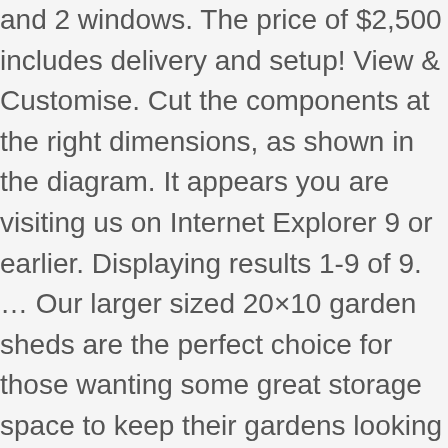and 2 windows. The price of $2,500 includes delivery and setup! View & Customise. Cut the components at the right dimensions, as shown in the diagram. It appears you are visiting us on Internet Explorer 9 or earlier. Displaying results 1-9 of 9. … Our larger sized 20×10 garden sheds are the perfect choice for those wanting some great storage space to keep their gardens looking and feeling great. Value Gable 10 ft. x 20 ft. Wood Shed Precut Kit with Floor. from £ 1168.00. tall wall and a maximum inside height of 7 ft. 7 in. Value 10 ft. W x 20 ft. D Solid Wood Storage Shed. Out of these cookies, the cookies that are categorized as necessary are stored on your browser as they are essential for the working of basic functionalities of the website. Don't let your riding mower or ATV rust out in the rain. per f2 snow load rating, DIY assembly